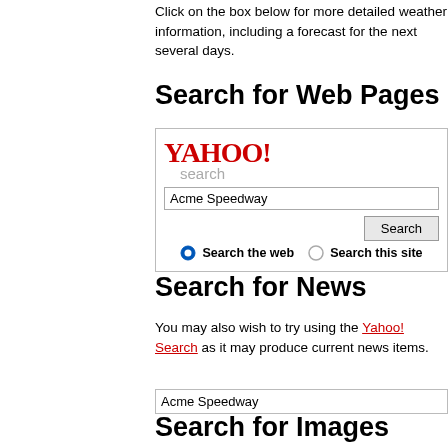Click on the box below for more detailed weather information, including a forecast for the next several days.
Search for Web Pages
[Figure (screenshot): Yahoo! Search widget with search input containing 'Acme Speedway', a Search button, and radio buttons for 'Search the web' (selected) and 'Search this site']
Search for News
You may also wish to try using the Yahoo! Search as it may produce current news items.
[Figure (screenshot): Text input field containing 'Acme Speedway']
Search for Images